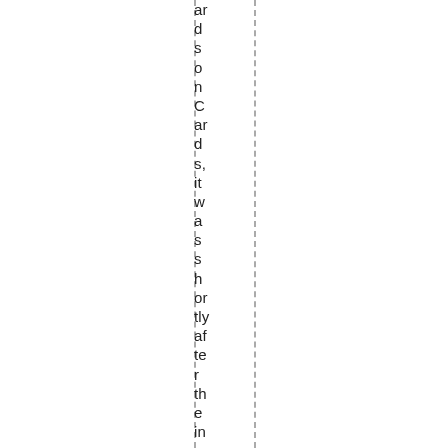ardsonCards, it was shortly after the in-season